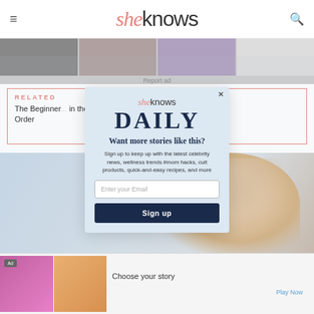sheknows
Report ad
RELATED
The Beginner... in the Correct Order
[Figure (screenshot): SheKnows Daily email signup modal overlay. Contains SheKnows logo, 'DAILY' heading, 'Want more stories like this?' subheading, sign-up text, email input field, and Sign up button.]
[Figure (photo): Woman with blonde hair smiling, light blue background]
Ad
Choose your story
Play Now